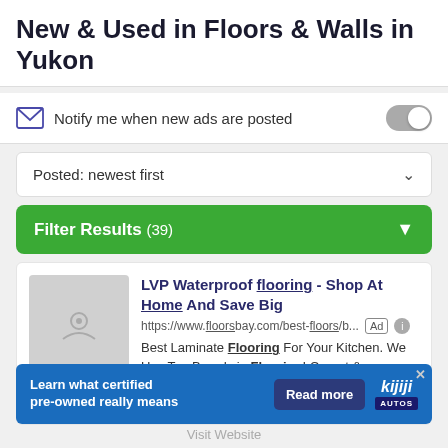New & Used in Floors & Walls in Yukon
Notify me when new ads are posted
Posted: newest first
Filter Results (39)
LVP Waterproof flooring - Shop At Home And Save Big
https://www.floorsbay.com/best-floors/b...
Best Laminate Flooring For Your Kitchen. We Use Top Brands in Flooring! Carpet & Flooring!
Bathroom Remodeling
[Figure (screenshot): Kijiji Autos banner advertisement: 'Learn what certified pre-owned really means' with Read more button and Kijiji Autos logo]
Visit Website